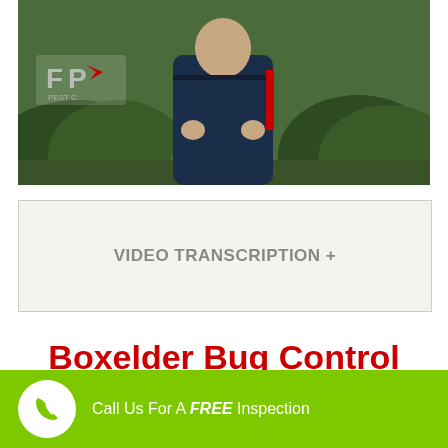[Figure (photo): A pest control technician in a dark blue uniform standing outdoors in front of trimmed bushes, with a pest control company logo visible in the upper left corner of the image.]
VIDEO TRANSCRIPTION +
Boxelder Bug Control FAQ
Call Us For A FREE Inspection